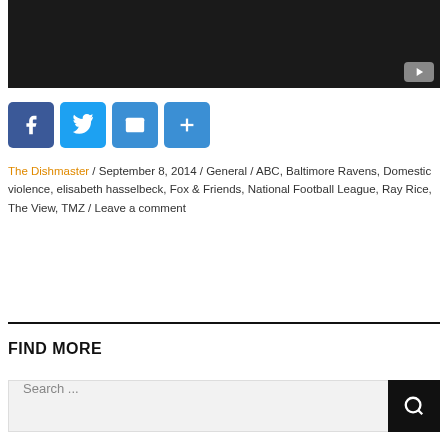[Figure (screenshot): Dark video player placeholder with YouTube play button icon in bottom-right corner]
[Figure (infographic): Social sharing buttons: Facebook, Twitter, Email, Share (plus icon)]
The Dishmaster / September 8, 2014 / General / ABC, Baltimore Ravens, Domestic violence, elisabeth hasselbeck, Fox & Friends, National Football League, Ray Rice, The View, TMZ / Leave a comment
FIND MORE
Search ...